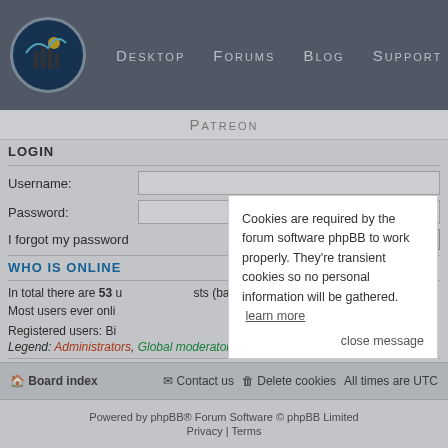Winter Wolves — Desktop | Forums | Blog | Support
Patreon
LOGIN
Username:
Password:
I forgot my password   Remember me  Login
WHO IS ONLINE
In total there are 53 users online :: guests (based on users active over the past 5 minutes)
Most users ever online
Registered users: Bin
Legend: Administrators, Global moderators, Registered users
STATISTICS
Total posts 36820 • Total topics 1585 • Total members 1075 • Our newest member Hekatontach
Board index   Contact us   Delete cookies   All times are UTC
Powered by phpBB® Forum Software © phpBB Limited
Privacy | Terms
Cookies are required by the forum software phpBB to work properly. They're transient cookies so no personal information will be gathered.   learn more
close message